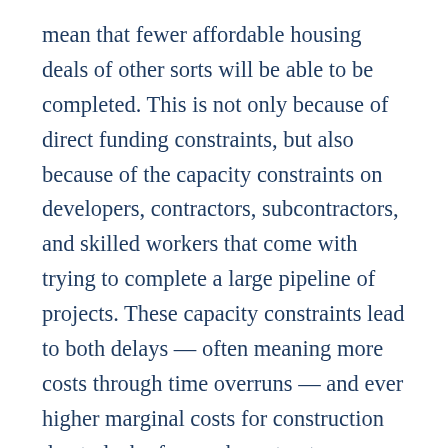mean that fewer affordable housing deals of other sorts will be able to be completed. This is not only because of direct funding constraints, but also because of the capacity constraints on developers, contractors, subcontractors, and skilled workers that come with trying to complete a large pipeline of projects. These capacity constraints lead to both delays — often meaning more costs through time overruns — and ever higher marginal costs for construction due to lack of enough contractor competition for the large amounts of projects. Efforts to reduce the costs of housing construction overall, especially affordable housing construction, will also be necessary for this effort, as will efforts to